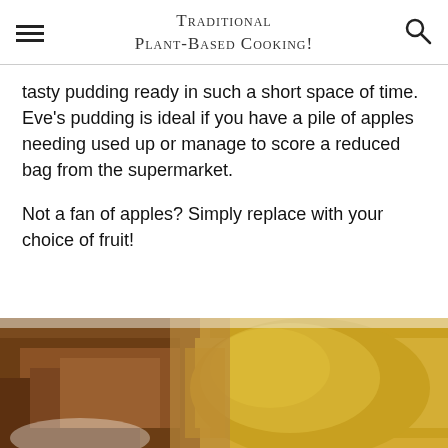Traditional Plant-Based Cooking!
tasty pudding ready in such a short space of time. Eve's pudding is ideal if you have a pile of apples needing used up or manage to score a reduced bag from the supermarket.
Not a fan of apples? Simply replace with your choice of fruit!
[Figure (photo): Close-up photo of Eve's pudding with golden custard poured over a baked crumble-style dessert]